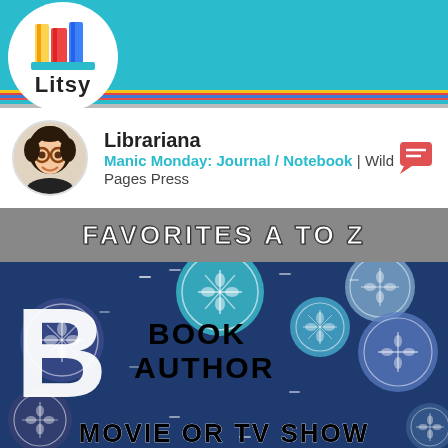[Figure (screenshot): Litsy app navigation bar with logo, home, search, add, notification, and profile icons on teal background]
Librariana
Manic Monday: Journal / Notebook | Wild Pages Press
[Figure (illustration): Favorites A to Z banner image with gray background and decorative sand dollar pattern on dark blue background. Large letter B with text: BOOK AUTHOR MOVIE OR TV SHOW]